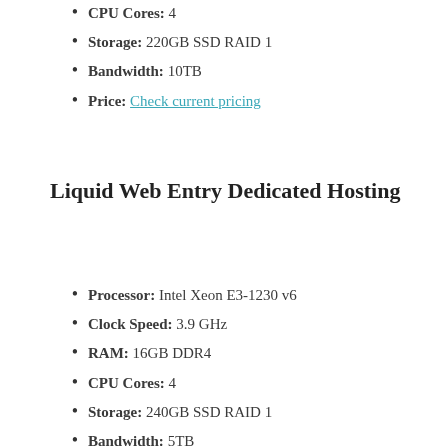CPU Cores: 4
Storage: 220GB SSD RAID 1
Bandwidth: 10TB
Price: Check current pricing
Liquid Web Entry Dedicated Hosting
Processor: Intel Xeon E3-1230 v6
Clock Speed: 3.9 GHz
RAM: 16GB DDR4
CPU Cores: 4
Storage: 240GB SSD RAID 1
Bandwidth: 5TB
Price: Check current pricing